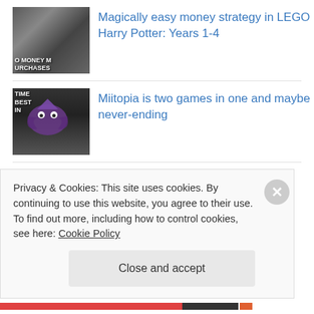[Figure (photo): Thumbnail image for LEGO Harry Potter article showing money/coins with text overlay 'O MONEY M URCHASES']
Magically easy money strategy in LEGO Harry Potter: Years 1-4
[Figure (photo): Thumbnail for Miitopia article showing purple owl-like character on dark background with text 'TIME BEST IN']
Miitopia is two games in one and maybe never-ending
[Figure (photo): Thumbnail for Pikuniku article showing green background with text 'FREE MO FOR ALL IN' and yellow balloon character]
If you play Pikuniku, you'll get free money (not really)
Privacy & Cookies: This site uses cookies. By continuing to use this website, you agree to their use.
To find out more, including how to control cookies, see here: Cookie Policy